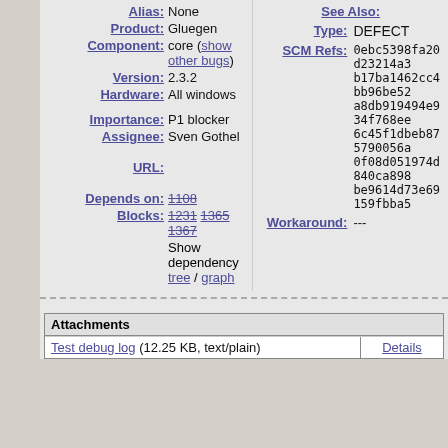Alias: None
See Also:
Product: Gluegen
Type: DEFECT
Component: core (show other bugs)
SCM Refs: 0ebc5398fa20d23214a3 b17ba1462cc4bb96be52 a8db919494e934f768ee 6c45f1dbeb875790056a 0f08d051974d840ca898 be9614d73e69159fbba5
Version: 2.3.2
Hardware: All windows
Workaround: ---
Importance: P1 blocker
Assignee: Sven Gothel
URL:
Depends on: 1108
Blocks: 1231 1365 1367
Show dependency tree / graph
| Attachments |  |
| --- | --- |
| Test debug log (12.25 KB, text/plain) | Details |